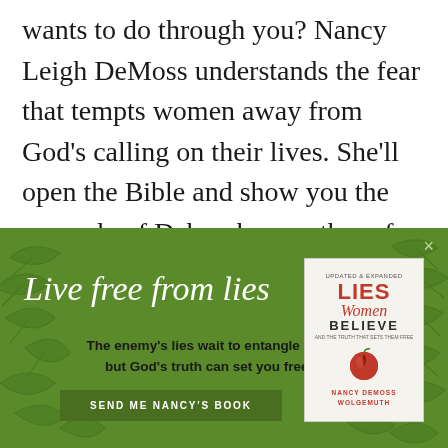wants to do through you? Nancy Leigh DeMoss understands the fear that tempts women away from God's calling on their lives. She'll open the Bible and show you the example of Deborah, a mother of Israel used by God to save a nation. This example will encourage you
[Figure (infographic): Green promotional banner with decorative leaf background. Cursive headline 'Live free from lies', subtext 'The enemy's lies wait to entangle you, but God's truth can set you free!', a call-to-action button 'SEND ME NANCY'S BOOK', and a book cover image for 'Lies Women Believe' by Nancy DeMoss Wolgemuth. An X close button is in the top right.]